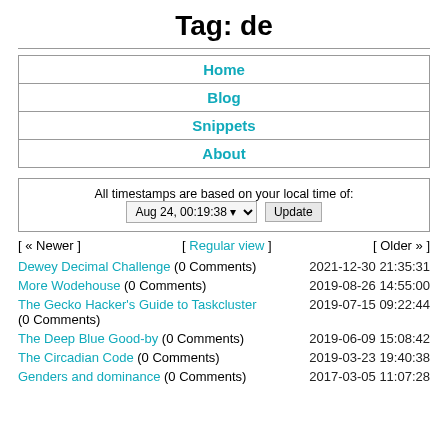Tag: de
Home
Blog
Snippets
About
All timestamps are based on your local time of: Aug 24, 00:19:38 [Update]
[ « Newer ]    [ Regular view ]    [ Older » ]
Dewey Decimal Challenge (0 Comments)    2021-12-30 21:35:31
More Wodehouse (0 Comments)    2019-08-26 14:55:00
The Gecko Hacker's Guide to Taskcluster (0 Comments)    2019-07-15 09:22:44
The Deep Blue Good-by (0 Comments)    2019-06-09 15:08:42
The Circadian Code (0 Comments)    2019-03-23 19:40:38
Genders and dominance (0 Comments)    2017-03-05 11:07:28